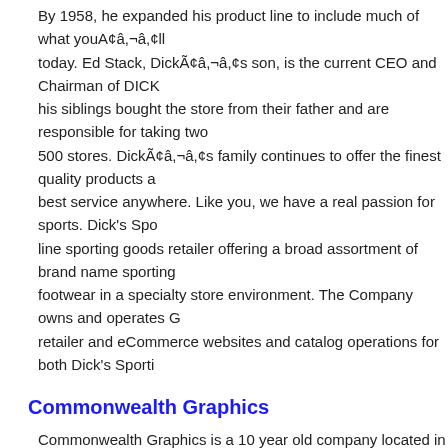By 1958, he expanded his product line to include much of what youA¢â,¬â,¢ll find today. Ed Stack, DickÃ¢â,¬â,¢s son, is the current CEO and Chairman of DICK's and his siblings bought the store from their father and are responsible for taking two to over 500 stores. DickÃ¢â,¬â,¢s family continues to offer the finest quality products and the best service anywhere. Like you, we have a real passion for sports. Dick's Sporting a full-line sporting goods retailer offering a broad assortment of brand name sporting goods, footwear in a specialty store environment. The Company owns and operates Golf retailer and eCommerce websites and catalog operations for both Dick's Sporti...
Commonwealth Graphics
Commonwealth Graphics is a 10 year old company located in Northern Virginia. We are a company that prides itself on customer service and attention to detail. Our clients from all over the country because we work hard to find them the right products and do it on time and within budget. We have a vast supply of partners in our network for projects. We spent many years building these relationships and our clients rely on us as solution for all their Printing, Promotional and wearable needs. We hope you enjoy our site, if you do not see what you are looking for please do not hesitate to contact us for help.
Silverbrook Nursery & Landscaping
Silverbrook Nursery & Landscaping was originally founded in 1987 by Buzz and... & Landscaping). Jerry Haley joined the company as a third partner when the to...